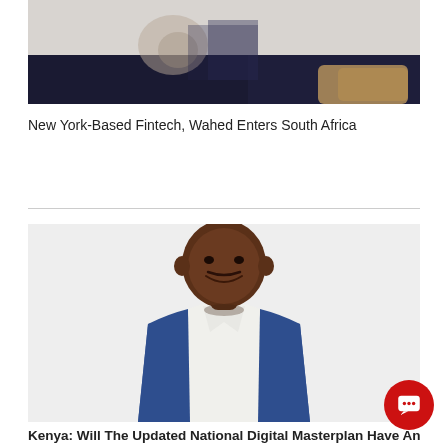[Figure (photo): Cropped top portion of a person sitting, wearing dark pants, hands clasped, on a light background with a textured cushion visible on the right]
New York-Based Fintech, Wahed Enters South Africa
[Figure (photo): Professional portrait of a bald Black man smiling, wearing a blue suit jacket over a white dress shirt, photographed against a white background]
Kenya: Will The Updated National Digital Masterplan Have An